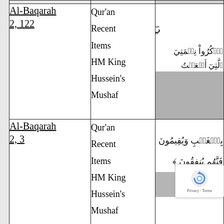| Reference | Source | Arabic Text |
| --- | --- | --- |
| Al-Baqarah 2, 122 | Qur'an Recent Items HM King Hussein's Mushaf | [Arabic calligraphy] |
| Al-Baqarah 2, 3 | Qur'an Recent Items HM King Hussein's Mushaf | [Arabic calligraphy] |
| Al-Baqarah 2, 77 | Qur'an Recent... | [Arabic calligraphy] |
[Figure (other): reCAPTCHA widget overlay in bottom-right corner with Google reCAPTCHA logo and Privacy-Terms text]